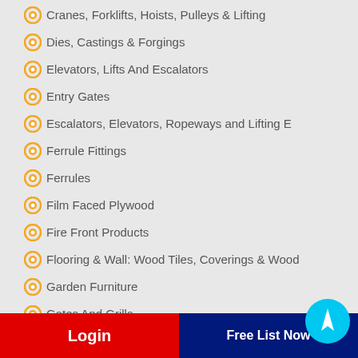Cranes, Forklifts, Hoists, Pulleys & Lifting
Dies, Castings & Forgings
Elevators, Lifts And Escalators
Entry Gates
Escalators, Elevators, Ropeways and Lifting E
Ferrule Fittings
Ferrules
Film Faced Plywood
Fire Front Products
Flooring & Wall: Wood Tiles, Coverings & Wood
Garden Furniture
Gates And Grills
Gates, Grills, Fences and Security Bars
General Building Hardware Traders
Glass Mosaic
Granite, Marble & Slate
casting Parts
Login
Free List Now